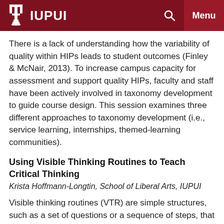IUPUI
There is a lack of understanding how the variability of quality within HIPs leads to student outcomes (Finley & McNair, 2013). To increase campus capacity for assessment and support quality HIPs, faculty and staff have been actively involved in taxonomy development to guide course design. This session examines three different approaches to taxonomy development (i.e., service learning, internships, themed-learning communities).
Using Visible Thinking Routines to Teach Critical Thinking
Krista Hoffmann-Longtin, School of Liberal Arts, IUPUI
Visible thinking routines (VTR) are simple structures, such as a set of questions or a sequence of steps, that